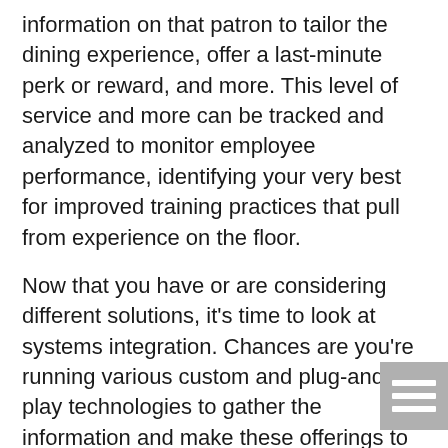information on that patron to tailor the dining experience, offer a last-minute perk or reward, and more. This level of service and more can be tracked and analyzed to monitor employee performance, identifying your very best for improved training practices that pull from experience on the floor.
Now that you have or are considering different solutions, it's time to look at systems integration. Chances are you're running various custom and plug-and-play technologies to gather the information and make these offerings to your patrons. This year, it's important to look at how you might integrate all of these in one custom platform. This allows for gaps in data in be filled in and gives you the 360 degree, birds eye view you are looking for.
Integrating your systems allows for improved
[Figure (other): A grey square icon with three horizontal white lines, resembling a menu or list icon.]